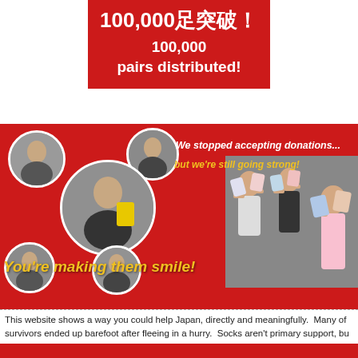100,000足突破！ 100,000 pairs distributed!
[Figure (photo): Red banner with circular photo collage on left showing smiling children receiving socks, and right side showing children holding up socks packages. Text overlays: 'We stopped accepting donations... but we're still going strong!' in white/yellow italic, and 'You're making them smile!' in yellow italic at the bottom.]
This website shows a way you could help Japan, directly and meaningfully.  Many of survivors ended up barefoot after fleeing in a hurry.  Socks aren't primary support, bu token of care that will last beyond their small mid-crisis comfort.